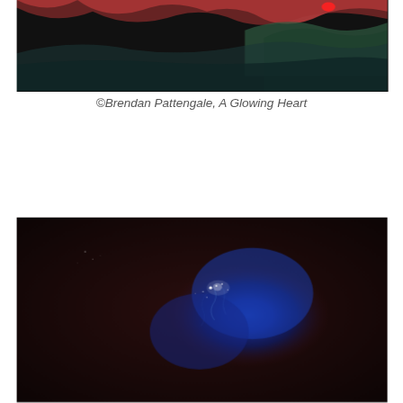[Figure (illustration): Abstract art image showing dark background with red and green wave-like forms, partially cropped at top - 'A Glowing Heart' by Brendan Pattengale]
©Brendan Pattengale, A Glowing Heart
[Figure (photo): Dark reddish-brown background with a central glowing blue nebula-like form with white speckled highlights - 'Space Exploration' by Brendan Pattengale]
©Brendan Pattengale, Space Exploration
[Figure (illustration): Abstract mountain landscape with teal/aqua misty valleys and dark golden-green mountain peaks, partially cropped at bottom]